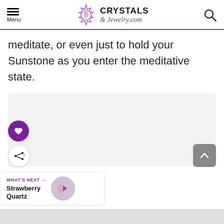Menu | Crystals & Jewelry.com
meditate, or even just to hold your Sunstone as you enter the meditative state.
[Figure (photo): Light gray image placeholder area for crystal/sunstone photo]
WHAT'S NEXT → Strawberry Quartz